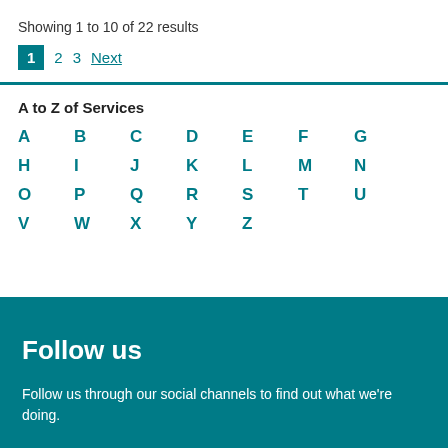Showing 1 to 10 of 22 results
1  2  3  Next
A to Z of Services
A B C D E F G H I J K L M N O P Q R S T U V W X Y Z
Follow us
Follow us through our social channels to find out what we're doing.